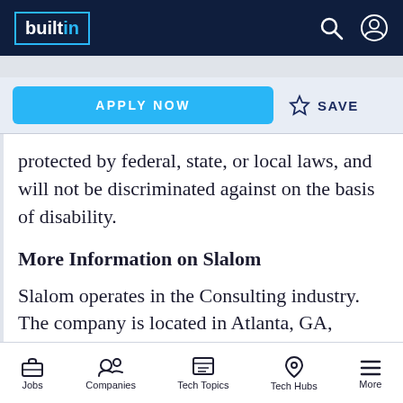builtin
APPLY NOW  SAVE
protected by federal, state, or local laws, and will not be discriminated against on the basis of disability.
More Information on Slalom
Slalom operates in the Consulting industry. The company is located in Atlanta, GA, Seattle, WA, Portland, OR, Palo Alto, CA, San Francisco, CA, Walnut Creek, CA, Irvine, CA
Jobs  Companies  Tech Topics  Tech Hubs  More